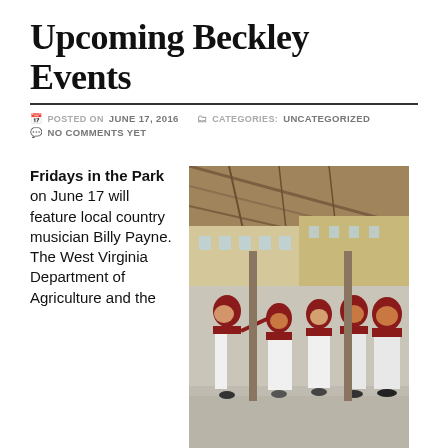Upcoming Beckley Events
POSTED ON JUNE 17, 2016   CATEGORIES: UNCATEGORIZED
NO COMMENTS YET
Fridays in the Park on June 17 will feature local country musician Billy Payne. The West Virginia Department of Agriculture and the
[Figure (photo): People in red shirts dancing under an outdoor pavilion/shelter with buildings visible in the background]